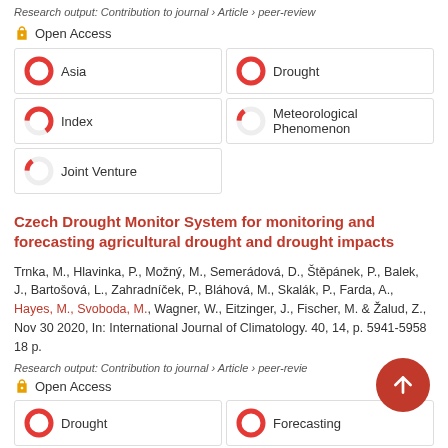Research output: Contribution to journal › Article › peer-review
Open Access
[Figure (infographic): Keyword donut charts: Asia 100%, Drought 100%, Index ~65%, Meteorological Phenomenon ~15%, Joint Venture ~15%]
Czech Drought Monitor System for monitoring and forecasting agricultural drought and drought impacts
Trnka, M., Hlavinka, P., Možný, M., Semerádová, D., Štěpánek, P., Balek, J., Bartošová, L., Zahradníček, P., Bláhová, M., Skalák, P., Farda, A., Hayes, M., Svoboda, M., Wagner, W., Eitzinger, J., Fischer, M. & Žalud, Z., Nov 30 2020, In: International Journal of Climatology. 40, 14, p. 5941-5958 18 p.
Research output: Contribution to journal › Article › peer-review
Open Access
[Figure (infographic): Keyword donut charts: Drought 100%, Forecasting 100%]